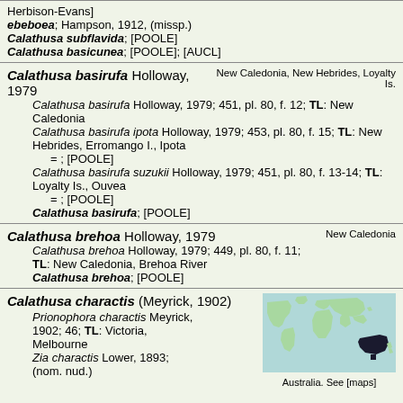Herbison-Evans]
ebeboea; Hampson, 1912, (missp.)
Calathusa subflavida; [POOLE]
Calathusa basicunea; [POOLE]; [AUCL]
Calathusa basirufa Holloway, 1979
New Caledonia, New Hebrides, Loyalty Is.
Calathusa basirufa Holloway, 1979; 451, pl. 80, f. 12; TL: New Caledonia
Calathusa basirufa ipota Holloway, 1979; 453, pl. 80, f. 15; TL: New Hebrides, Erromango I., Ipota
= ; [POOLE]
Calathusa basirufa suzukii Holloway, 1979; 451, pl. 80, f. 13-14; TL: Loyalty Is., Ouvea
= ; [POOLE]
Calathusa basirufa; [POOLE]
Calathusa brehoa Holloway, 1979
New Caledonia
Calathusa brehoa Holloway, 1979; 449, pl. 80, f. 11; TL: New Caledonia, Brehoa River
Calathusa brehoa; [POOLE]
Calathusa charactis (Meyrick, 1902)
Prionophora charactis Meyrick, 1902; 46; TL: Victoria, Melbourne
Zia charactis Lower, 1893; (nom. nud.)
[Figure (map): World map showing Australia highlighted in dark, indicating the distribution range for Calathusa charactis.]
Australia. See [maps]